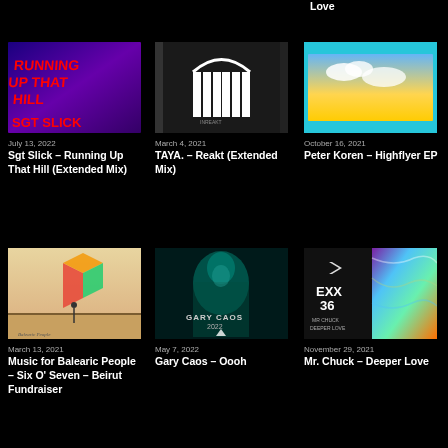Love
[Figure (photo): Album art for Sgt Slick – Running Up That Hill (Extended Mix). Red text on dark purple/blue background.]
July 13, 2022
Sgt Slick – Running Up That Hill (Extended Mix)
[Figure (photo): Album art for TAYA. – Reakt (Extended Mix). White architectural arch on dark background.]
March 4, 2021
TAYA. – Reakt (Extended Mix)
[Figure (photo): Album art for Peter Koren – Highflyer EP. Sky with clouds on teal background.]
October 16, 2021
Peter Koren – Highflyer EP
[Figure (photo): Album art for Music for Balearic People – Six O' Seven – Beirut Fundraiser. Colorful geometric shape on desert background.]
March 13, 2021
Music for Balearic People – Six O' Seven – Beirut Fundraiser
[Figure (photo): Album art for Gary Caos – Oooh. Portrait in teal tones with text GARY CAOS 2022.]
May 7, 2022
Gary Caos – Oooh
[Figure (photo): Album art for Mr. Chuck – Deeper Love. Black and colorful swirl design with EXX 36 text.]
November 29, 2021
Mr. Chuck – Deeper Love